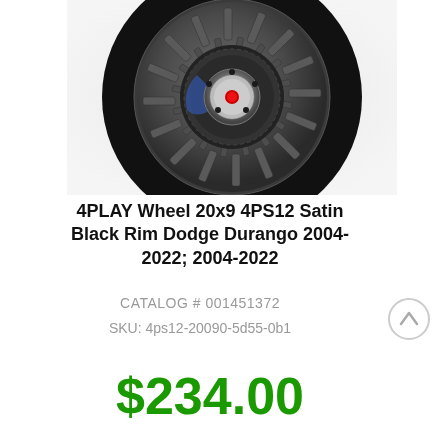[Figure (photo): Close-up photo of a 4PLAY 4PS12 satin black multi-spoke alloy wheel rim, showing the hub cap with red logo, spokes in dark matte gray, and partial tire tread.]
4PLAY Wheel 20x9 4PS12 Satin Black Rim Dodge Durango 2004-2022; 2004-2022
CATALOG # 001451372
SKU: 4ps12-20090-5d55-0b1
$234.00